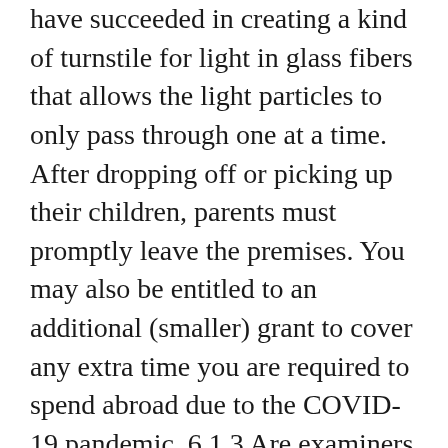have succeeded in creating a kind of turnstile for light in glass fibers that allows the light particles to only pass through one at a time. After dropping off or picking up their children, parents must promptly leave the premises. You may also be entitled to an additional (smaller) grant to cover any extra time you are required to spend abroad due to the COVID-19 pandemic. 6.1.3 Are examiners allowed to change assessment types? Examiners will communicate this clearly within the institutes and are aware of the fact that students are subject to external deadlines (BAföG, grants, employment offers) that are dependent on grades. Circulation desks and most reading areas are available at the following locations: